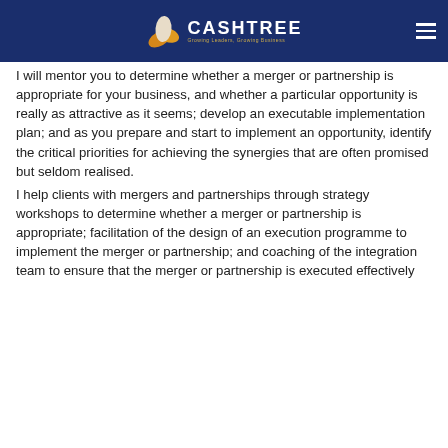CashTree — Growing Leaders, Growing Business
I will mentor you to determine whether a merger or partnership is appropriate for your business, and whether a particular opportunity is really as attractive as it seems; develop an executable implementation plan; and as you prepare and start to implement an opportunity, identify the critical priorities for achieving the synergies that are often promised but seldom realised.
I help clients with mergers and partnerships through strategy workshops to determine whether a merger or partnership is appropriate; facilitation of the design of an execution programme to implement the merger or partnership; and coaching of the integration team to ensure that the merger or partnership is executed effectively